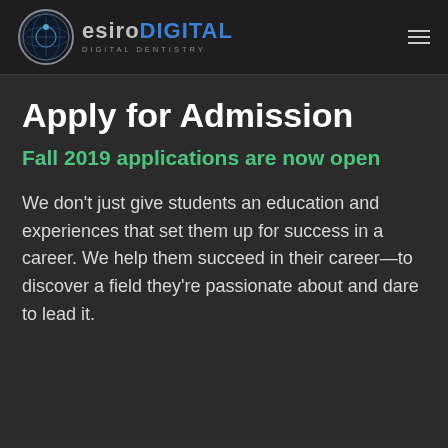ESIRODIGITAL DIGITAL DENTISTRY
Apply for Admission
Fall 2019 applications are now open
We don't just give students an education and experiences that set them up for success in a career. We help them succeed in their career—to discover a field they're passionate about and dare to lead it.